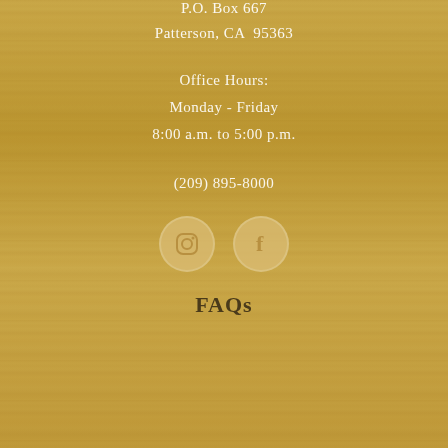P.O. Box 667
Patterson, CA  95363
Office Hours:
Monday - Friday
8:00 a.m. to 5:00 p.m.
(209) 895-8000
[Figure (illustration): Two circular social media icon buttons — Instagram and Facebook — on a wood-textured golden background]
FAQs